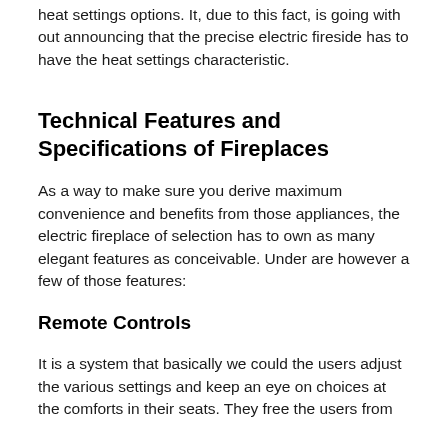heat settings options. It, due to this fact, is going with out announcing that the precise electric fireside has to have the heat settings characteristic.
Technical Features and Specifications of Fireplaces
As a way to make sure you derive maximum convenience and benefits from those appliances, the electric fireplace of selection has to own as many elegant features as conceivable. Under are however a few of those features:
Remote Controls
It is a system that basically we could the users adjust the various settings and keep an eye on choices at the comforts in their seats. They free the users from